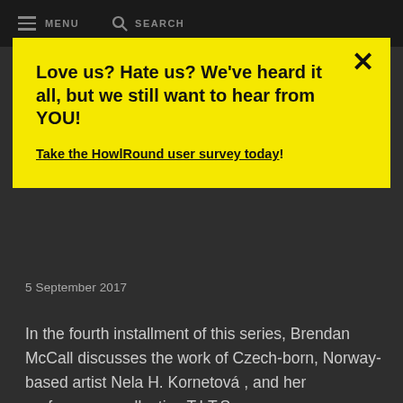MENU  SEARCH
Love us? Hate us? We've heard it all, but we still want to hear from YOU!
Take the HowlRound user survey today!
5 September 2017
In the fourth installment of this series, Brendan McCall discusses the work of Czech-born, Norway-based artist Nela H. Kornetová , and her performance collective T.I.T.S.